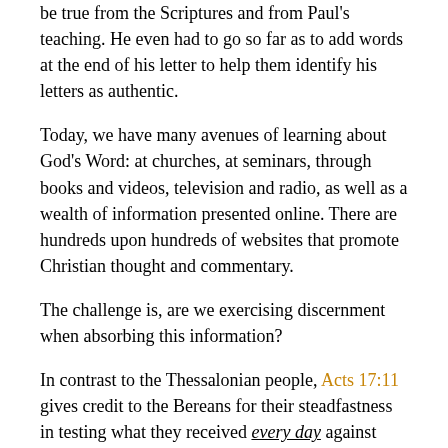be true from the Scriptures and from Paul's teaching. He even had to go so far as to add words at the end of his letter to help them identify his letters as authentic.
Today, we have many avenues of learning about God's Word: at churches, at seminars, through books and videos, television and radio, as well as a wealth of information presented online. There are hundreds upon hundreds of websites that promote Christian thought and commentary.
The challenge is, are we exercising discernment when absorbing this information?
In contrast to the Thessalonian people, Acts 17:11 gives credit to the Bereans for their steadfastness in testing what they received every day against Scripture to determine its trustworthiness. This example indicates a basic but powerful example of how to stay true to the